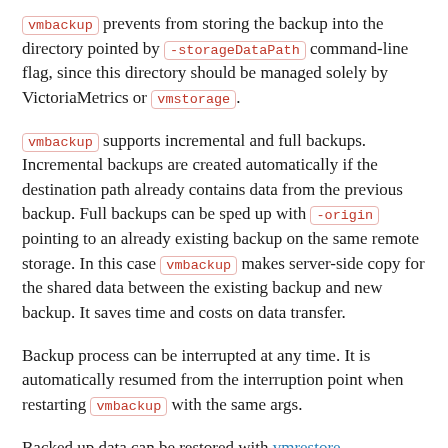vmbackup prevents from storing the backup into the directory pointed by -storageDataPath command-line flag, since this directory should be managed solely by VictoriaMetrics or vmstorage.
vmbackup supports incremental and full backups. Incremental backups are created automatically if the destination path already contains data from the previous backup. Full backups can be sped up with -origin pointing to an already existing backup on the same remote storage. In this case vmbackup makes server-side copy for the shared data between the existing backup and new backup. It saves time and costs on data transfer.
Backup process can be interrupted at any time. It is automatically resumed from the interruption point when restarting vmbackup with the same args.
Backed up data can be restored with vmrestore.